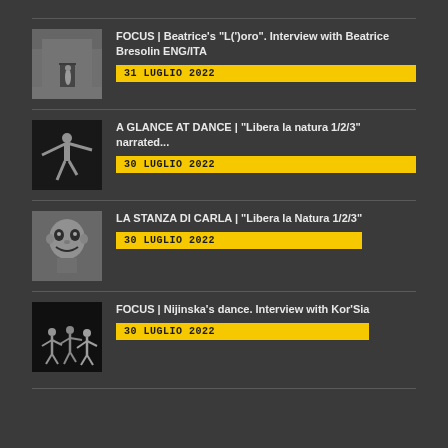FOCUS | Beatrice's "L(')oro". Interview with Beatrice Bresolin ENG/ITA
31 LUGLIO 2022
A GLANCE AT DANCE | "Libera la natura 1/2/3" narrated...
30 LUGLIO 2022
LA STANZA DI CARLA | "Libera la Natura 1/2/3"
30 LUGLIO 2022
FOCUS | Nijinska's dance. Interview with Kor'Sia
30 LUGLIO 2022